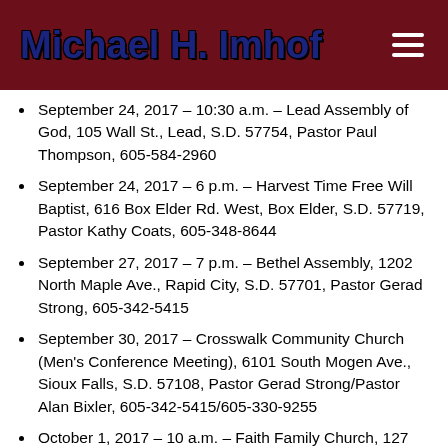Michael H. Imhof
September 24, 2017 – 10:30 a.m. – Lead Assembly of God, 105 Wall St., Lead, S.D. 57754, Pastor Paul Thompson, 605-584-2960
September 24, 2017 – 6 p.m. – Harvest Time Free Will Baptist, 616 Box Elder Rd. West, Box Elder, S.D. 57719, Pastor Kathy Coats, 605-348-8644
September 27, 2017 – 7 p.m. – Bethel Assembly, 1202 North Maple Ave., Rapid City, S.D. 57701, Pastor Gerad Strong, 605-342-5415
September 30, 2017 – Crosswalk Community Church (Men's Conference Meeting), 6101 South Mogen Ave., Sioux Falls, S.D. 57108, Pastor Gerad Strong/Pastor Alan Bixler, 605-342-5415/605-330-9255
October 1, 2017 – 10 a.m. – Faith Family Church, 127...